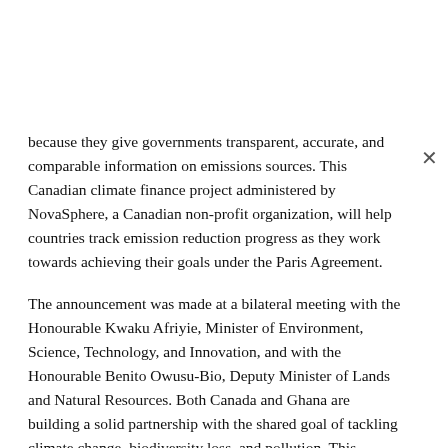because they give governments transparent, accurate, and comparable information on emissions sources. This Canadian climate finance project administered by NovaSphere, a Canadian non-profit organization, will help countries track emission reduction progress as they work towards achieving their goals under the Paris Agreement.
The announcement was made at a bilateral meeting with the Honourable Kwaku Afriyie, Minister of Environment, Science, Technology, and Innovation, and with the Honourable Benito Owusu-Bio, Deputy Minister of Lands and Natural Resources. Both Canada and Ghana are building a solid partnership with the shared goal of tackling climate change, biodiversity loss, and pollution. This partnership has been further cemented by their ongoing co-leadership to ratify a new legally binding global agreement on plastic pollution at the United Nations Environment Assembly (UNEA).